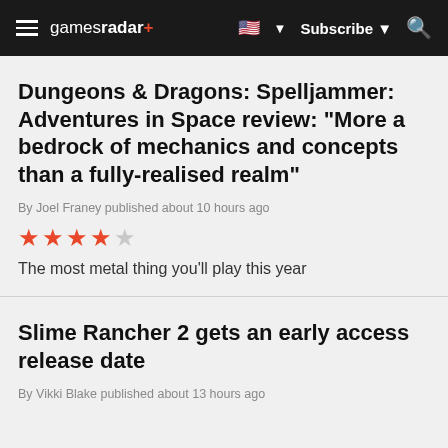gamesradar+ | Subscribe | Search
Dungeons & Dragons: Spelljammer: Adventures in Space review: "More a bedrock of mechanics and concepts than a fully-realised realm"
By Joel Franey published about 10 hours ago
★★★★☆ (4 out of 5 stars)
The most metal thing you'll play this year
Slime Rancher 2 gets an early access release date
By Vikki Blake published about 13 hours ago